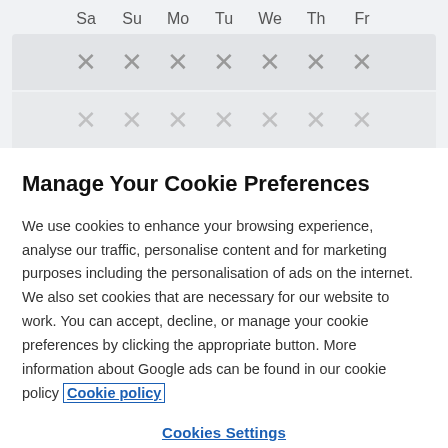[Figure (screenshot): Calendar header row showing days Sa Su Mo Tu We Th Fr, with two rows of X marks below indicating unavailable days]
Manage Your Cookie Preferences
We use cookies to enhance your browsing experience, analyse our traffic, personalise content and for marketing purposes including the personalisation of ads on the internet. We also set cookies that are necessary for our website to work. You can accept, decline, or manage your cookie preferences by clicking the appropriate button. More information about Google ads can be found in our cookie policy Cookie policy
Cookies Settings
Reject all cookies
Accept all cookies (partially visible)